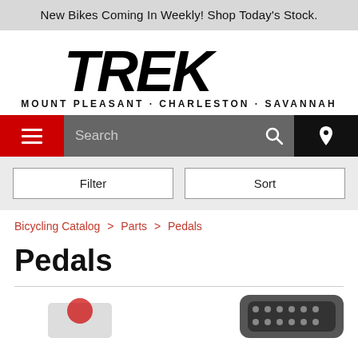New Bikes Coming In Weekly! Shop Today's Stock.
[Figure (logo): TREK logo in large bold italic black text, with subtitle MOUNT PLEASANT · CHARLESTON · SAVANNAH]
Search (navigation bar with hamburger menu, search field, and location pin)
Filter | Sort (filter and sort buttons)
Bicycling Catalog > Parts > Pedals
Pedals
[Figure (photo): Partial product images at bottom of page showing bicycle pedals]